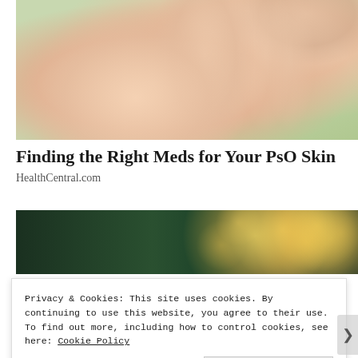[Figure (photo): Close-up photo of a human hand/palm with fingers spread, against a green blurred background. Skin tones visible. Related to psoriasis skin condition article.]
Finding the Right Meds for Your PsO Skin
HealthCentral.com
[Figure (photo): Blurred photo of a circuit board or electronics store with bokeh lighting and a price tag showing £2.50 or similar amount.]
Privacy & Cookies: This site uses cookies. By continuing to use this website, you agree to their use.
To find out more, including how to control cookies, see here: Cookie Policy
Close and accept